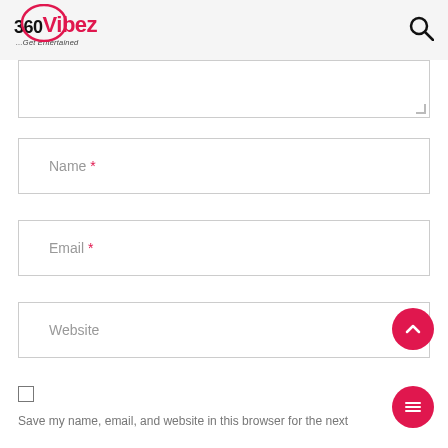360Vibez ...Get Entertained
[Figure (screenshot): Textarea input box (partially visible), followed by Name, Email, Website input fields with placeholder labels and required asterisks, a checkbox, and a partial 'Save my name, email, and website in this browser for the next' text. Two circular red buttons: scroll-to-top (chevron up) and menu (three lines) icons.]
Name *
Email *
Website
Save my name, email, and website in this browser for the next